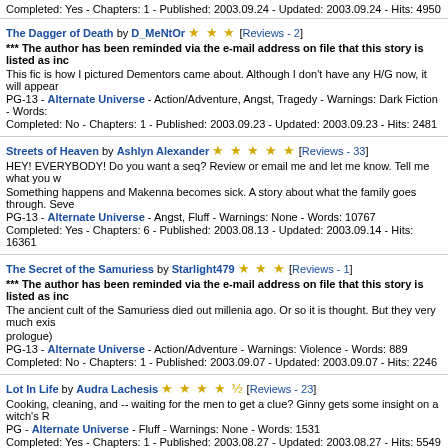Completed: Yes - Chapters: 1 - Published: 2003.09.24 - Updated: 2003.09.24 - Hits: 4950
The Dagger of Death by D_MeNtOr ★★★ [Reviews - 2]
*** The author has been reminded via the e-mail address on file that this story is listed as inc
This fic is how I pictured Dementors came about. Although I don't have any H/G now, it will appear
PG-13 - Alternate Universe - Action/Adventure, Angst, Tragedy - Warnings: Dark Fiction - Words:
Completed: No - Chapters: 1 - Published: 2003.09.23 - Updated: 2003.09.23 - Hits: 2481
Streets of Heaven by Ashlyn Alexander ★★★★★ [Reviews - 33]
HEY! EVERYBODY! Do you want a seq? Review or email me and let me know. Tell me what you w
Something happens and Makenna becomes sick. A story about what the family goes through. Seve
PG-13 - Alternate Universe - Angst, Fluff - Warnings: None - Words: 10767
Completed: Yes - Chapters: 6 - Published: 2003.08.13 - Updated: 2003.09.14 - Hits: 16361
The Secret of the Samuriess by Starlight479 ★★★ [Reviews - 1]
*** The author has been reminded via the e-mail address on file that this story is listed as inc
The ancient cult of the Samuriess died out millenia ago. Or so it is thought. But they very much exis prologue)
PG-13 - Alternate Universe - Action/Adventure - Warnings: Violence - Words: 889
Completed: No - Chapters: 1 - Published: 2003.09.07 - Updated: 2003.09.07 - Hits: 2246
Lot In Life by Audra Lachesis ★★★★½ [Reviews - 23]
Cooking, cleaning, and -- waiting for the men to get a clue? Ginny gets some insight on a witch's R
PG - Alternate Universe - Fluff - Warnings: None - Words: 1531
Completed: Yes - Chapters: 1 - Published: 2003.08.27 - Updated: 2003.08.27 - Hits: 5549
Harry Potter, Astra Knight and the Omega Time by ehren ★★★★★ [Reviews - 31]
Follow Harry and Astra through their final year through Hogwarts. Action and Humor are abound wi mysterious stone, a mysterious countdown and more.
PG-13 - Alternate Universe - Comedy - Warnings: Death, Violence - Words: 69888